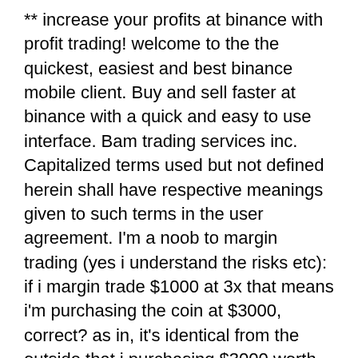** increase your profits at binance with profit trading! welcome to the the quickest, easiest and best binance mobile client. Buy and sell faster at binance with a quick and easy to use interface. Bam trading services inc. Capitalized terms used but not defined herein shall have respective meanings given to such terms in the user agreement. I'm a noob to margin trading (yes i understand the risks etc): if i margin trade $1000 at 3x that means i'm purchasing the coin at $3000, correct? as in, it's identical from the outside that i purchasing $3000 worth of a coin with my own money? what is the point of margin trading if i need backup money anyway to cover any potential losses? ie. Four steps for margin trading: step 1: enable margin account. Choose [trade]. >[basic] at the